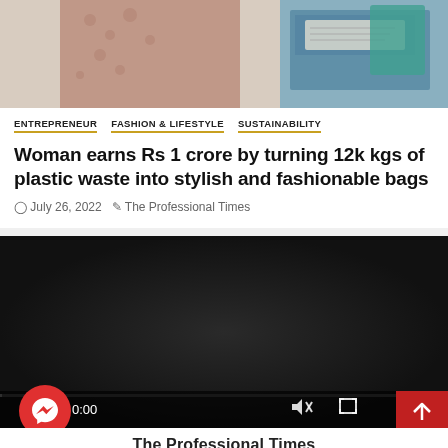[Figure (photo): Top portion of a photo showing a woman in a patterned dress working with bags/materials on a table, partially cropped]
ENTREPRENEUR   FASHION & LIFESTYLE   SUSTAINABILITY
Woman earns Rs 1 crore by turning 12k kgs of plastic waste into stylish and fashionable bags
July 26, 2022   The Professional Times
[Figure (screenshot): Embedded video player with dark background, time indicator showing 0:00, mute icon, fullscreen icon, progress bar, Messenger chat button (red circle), and red scroll-to-top button]
The Professional Times